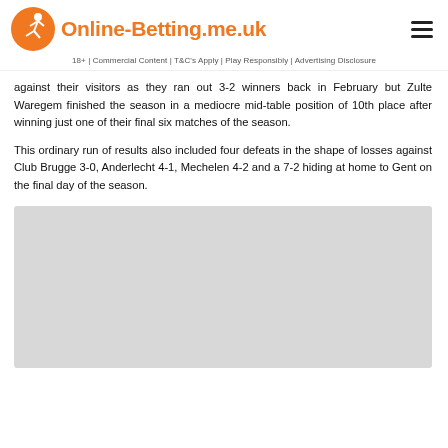Online-Betting.me.uk
18+ | Commercial Content | T&C's Apply | Play Responsibly | Advertising Disclosure
against their visitors as they ran out 3-2 winners back in February but Zulte Waregem finished the season in a mediocre mid-table position of 10th place after winning just one of their final six matches of the season.
This ordinary run of results also included four defeats in the shape of losses against Club Brugge 3-0, Anderlecht 4-1, Mechelen 4-2 and a 7-2 hiding at home to Gent on the final day of the season.
[Figure (other): Gray placeholder box for an image or advertisement]